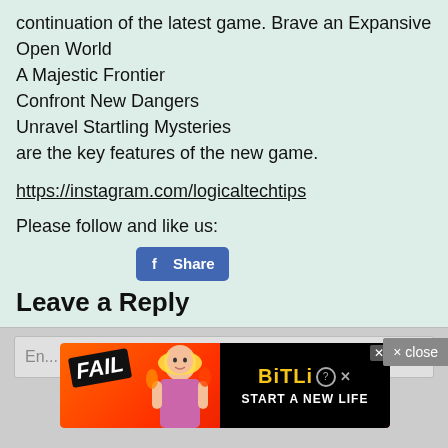continuation of the latest game. Brave an Expansive Open World
A Majestic Frontier
Confront New Dangers
Unravel Startling Mysteries
are the key features of the new game.
https://instagram.com/logicaltechtips
Please follow and like us:
[Figure (other): Facebook Share button with Facebook logo icon and 'Share' text on blue rounded rectangle button]
Leave a Reply
[Figure (other): BitLife advertisement banner with FAIL text, cartoon girl, and 'START A NEW LIFE' text on black and red background]
En...
× close